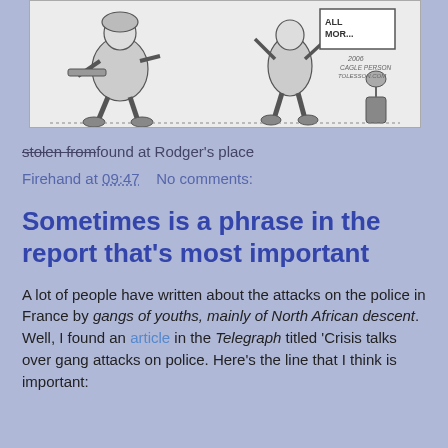[Figure (illustration): Black and white cartoon/illustration showing two figures — one appears to be a heavily armed soldier or police officer on the left, and another figure on the right holding a sign that reads 'ALL MOR...' with a bottle/plant nearby. Signed with '2006 CAGLE PERSON TOLESSON.COM' or similar.]
stolen from found at Rodger's place
Firehand at 09:47    No comments:
Sometimes is a phrase in the report that's most important
A lot of people have written about the attacks on the police in France by gangs of youths, mainly of North African descent. Well, I found an article in the Telegraph titled 'Crisis talks over gang attacks on police. Here's the line that I think is important: